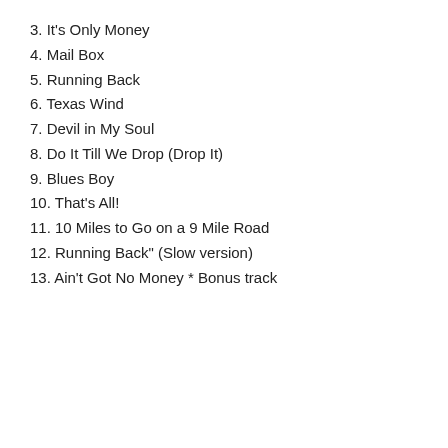3. It's Only Money
4. Mail Box
5. Running Back
6. Texas Wind
7. Devil in My Soul
8. Do It Till We Drop (Drop It)
9. Blues Boy
10. That's All!
11. 10 Miles to Go on a 9 Mile Road
12. Running Back" (Slow version)
13. Ain't Got No Money * Bonus track